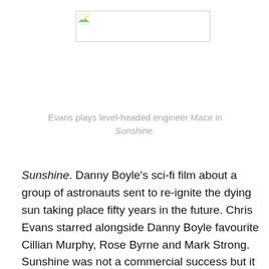[Figure (photo): Placeholder image with broken image icon, representing a photo of Evans as Mace in Sunshine]
Evans plays level-headed engineer Mace in Sunshine.
Sunshine. Danny Boyle's sci-fi film about a group of astronauts sent to re-ignite the dying sun taking place fifty years in the future. Chris Evans starred alongside Danny Boyle favourite Cillian Murphy, Rose Byrne and Mark Strong. Sunshine was not a commercial success but it was critically and rightly so; this is one of the best sci-fi films I have probably ever seen, I really enjoyed it and Chris Evans' character, Mace, was in fact really good.